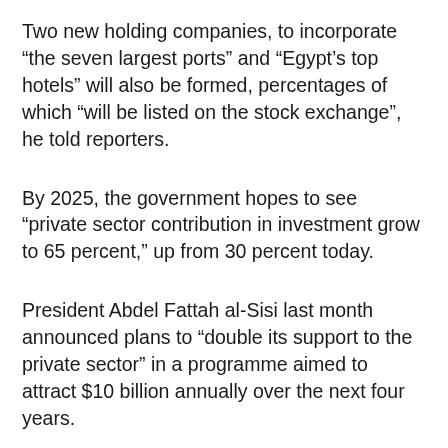Two new holding companies, to incorporate “the seven largest ports” and “Egypt’s top hotels” will also be formed, percentages of which “will be listed on the stock exchange”, he told reporters.
By 2025, the government hopes to see “private sector contribution in investment grow to 65 percent,” up from 30 percent today.
President Abdel Fattah al-Sisi last month announced plans to “double its support to the private sector” in a programme aimed to attract $10 billion annually over the next four years.
Earlier this month, American firm S&P Global released their latest Egypt Purchasing